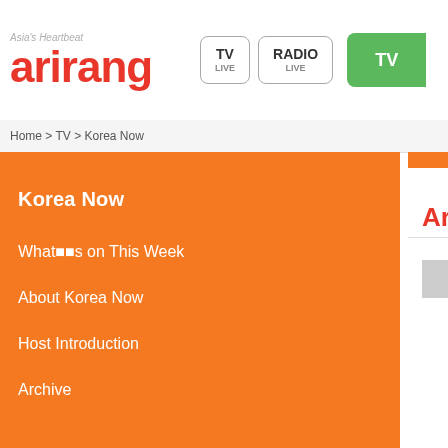[Figure (logo): Arirang TV logo with tagline 'Asia's Heartbeat' and navigation buttons TV LIVE, RADIO LIVE, and green TV button]
Home > TV > Korea Now
Korea Now
Whats on This Week
About Korea Now
Host Introduction
Archive
Archive
Presidential Elect
Televised Deba
Today (December Each party is prep warfare for poll-ra will not only be list candidates down t preparation for thi from the day prior speeches to each KOREA NOW to w organize for this d